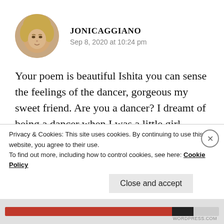[Figure (photo): Circular avatar photo of a blonde woman (Jonicaggiano)]
JONICAGGIANO
Sep 8, 2020 at 10:24 pm
Your poem is beautiful Ishita you can sense the feelings of the dancer, gorgeous my sweet friend. Are you a dancer? I dreamt of being a dancer when I was a little girl.
Privacy & Cookies: This site uses cookies. By continuing to use this website, you agree to their use.
To find out more, including how to control cookies, see here: Cookie Policy
Close and accept